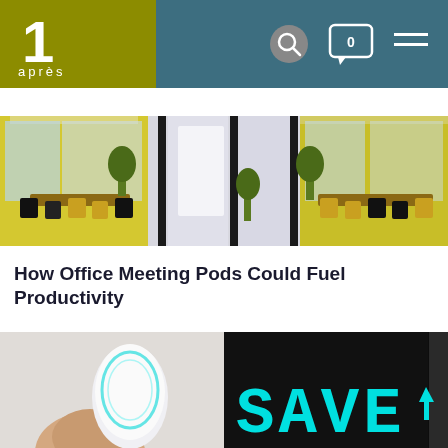1 après — website header with logo, search icon, chat icon (0), and menu
[Figure (photo): Office meeting pod interior showing modern conference room with yellow accents, black chairs, and glass doors, repeated in triptych style]
How Office Meeting Pods Could Fuel Productivity
[Figure (photo): Two photos side by side: left shows a white smart device being touched by a finger with cyan ring light; right shows a digital display reading SAVE with cyan segments on dark background]